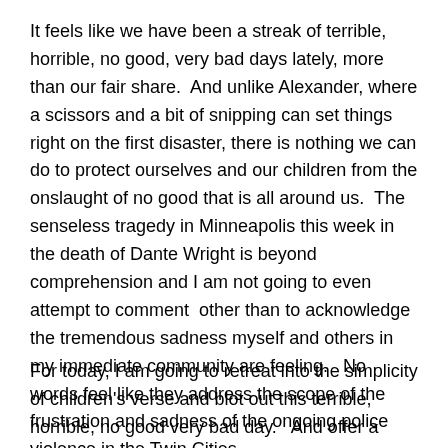It feels like we have been a streak of terrible, horrible, no good, very bad days lately, more than our fair share.  And unlike Alexander, where a scissors and a bit of snipping can set things right on the first disaster, there is nothing we can do to protect ourselves and our children from the onslaught of no good that is all around us.  The senseless tragedy in Minneapolis this week in the death of Dante Wright is beyond comprehension and I am not going to even attempt to comment  other than to acknowledge the tremendous sadness myself and others in my immediate community are feeling.   No words feel like they address the scope of the frustration and sadness of the ongoing police violence in the Twin Cities.
For today, I am going to retreat into the simplicity of children's verse and blot out this terrible, horrible, no good very bad day.   And offer a silent prayer for my city, that